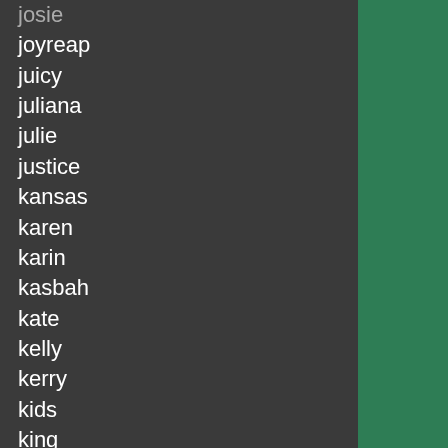josie
joyreap
juicy
juliana
julie
justice
kansas
karen
karin
kasbah
kate
kelly
kerry
kids
king
kingdom
kinglinen
knight
koolaburra